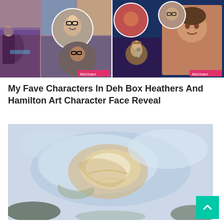[Figure (photo): A two-panel social media collage (MixGram). Left panel shows photos of people, including a person with glasses in a circular cutout and stage performance images. Right panel shows performance/celebrity photos in circular cutouts with a person on stage and a close-up portrait.]
My Fave Characters In Deh Box Heathers And Hamilton Art Character Face Reveal
[Figure (photo): A light blue and white abstract/watercolor or aerial photography image showing swirling pale blue and white tones with golden/tan organic shapes, possibly a natural landscape or abstract art.]